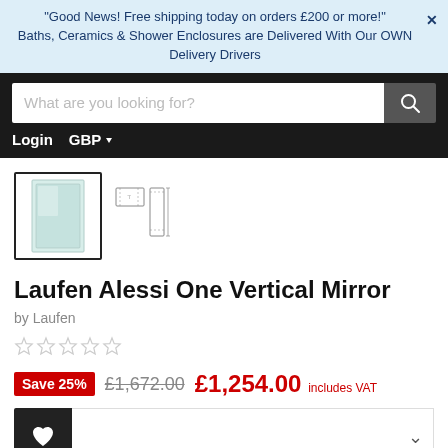"Good News! Free shipping today on orders £200 or more!" Baths, Ceramics & Shower Enclosures are Delivered With Our OWN Delivery Drivers
[Figure (screenshot): Search bar with placeholder text 'What are you looking for?' and a dark search button with magnifying glass icon]
Login   GBP
[Figure (photo): Main product thumbnail showing Laufen Alessi One Vertical Mirror — tall rectangular mirror image]
[Figure (engineering-diagram): Small technical/dimension diagram thumbnails for the mirror]
Laufen Alessi One Vertical Mirror
by Laufen
☆☆☆☆☆
Save 25%  £1,672.00  £1,254.00 includes VAT
40 x 100h x 6cm